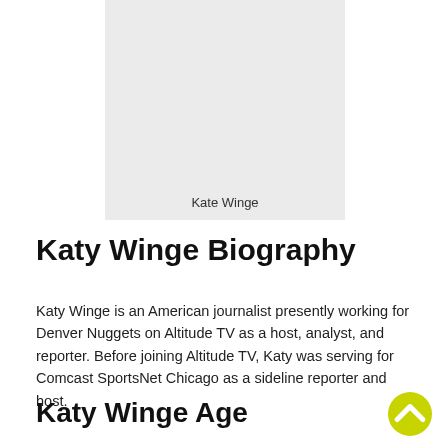[Figure (photo): Placeholder image of Kate Winge with light gray background]
Kate Winge
Katy Winge Biography
Katy Winge is an American journalist presently working for Denver Nuggets on Altitude TV as a host, analyst, and reporter. Before joining Altitude TV, Katy was serving for Comcast SportsNet Chicago as a sideline reporter and host.
Katy Winge Age